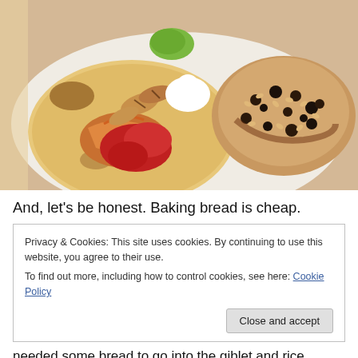[Figure (photo): A plate of Mexican-style food: a flour tortilla topped with grilled chicken pieces, sautéed peppers, red salsa, sour cream, and guacamole on the left side; a mound of rice and black beans with sauce on the right side, on a white plate.]
And, let's be honest. Baking bread is cheap.
Privacy & Cookies: This site uses cookies. By continuing to use this website, you agree to their use.
To find out more, including how to control cookies, see here: Cookie Policy
needed some bread to go into the giblet and rice dressing